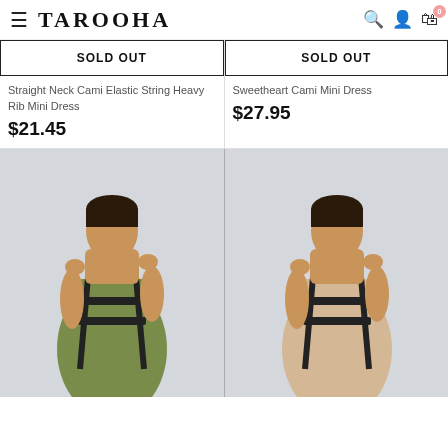TAROOHA — navigation header with hamburger menu, search, account, and cart (0) icons
SOLD OUT
SOLD OUT
Straight Neck Cami Elastic String Heavy Rib Mini Dress
$21.45
Sweetheart Cami Mini Dress
$27.95
[Figure (photo): Female model wearing olive green mini dress with black harness straps]
[Figure (photo): Female model wearing beige/cream mini dress with black harness straps]